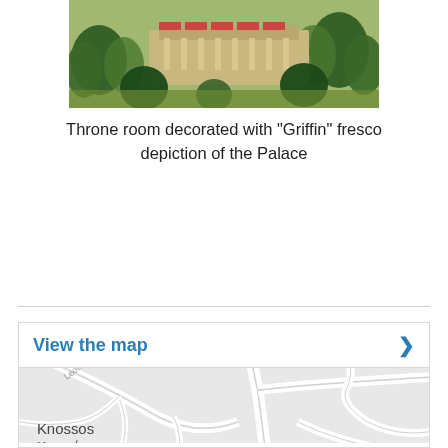[Figure (photo): Aerial/isometric illustration of a palace complex (Knossos) surrounded by trees and gardens, showing rooftops with decorative elements]
Throne room decorated with "Griffin" fresco depiction of the Palace
[Figure (map): Google Maps screenshot showing the area around Knossos (Κνωσός) in Crete, with streets including Leof. Knosou labeled. Map data ©2022.]